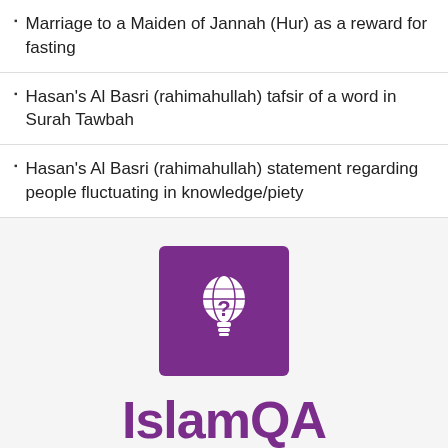Marriage to a Maiden of Jannah (Hur) as a reward for fasting
Hasan's Al Basri (rahimahullah) tafsir of a word in Surah Tawbah
Hasan's Al Basri (rahimahullah) statement regarding people fluctuating in knowledge/piety
[Figure (logo): IslamQA logo: purple square with white lightbulb containing a globe/question mark icon, with 'IslamQA' text and '93,900+ Answers' tagline below]